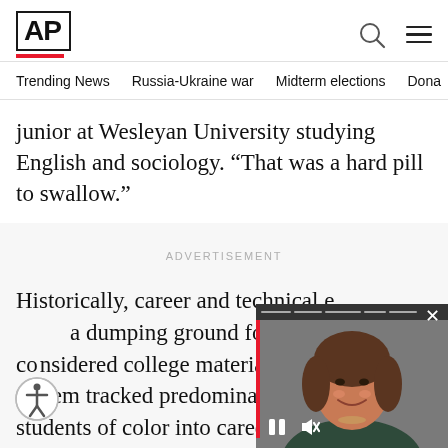AP
Trending News  Russia-Ukraine war  Midterm elections  Dona
junior at Wesleyan University studying English and sociology. “That was a hard pill to swallow.”
ADVERTISEMENT
Historically, career and technical e... a dumping ground for stude... considered college material. A two... system tracked predominantly low... students of color into career and te...
[Figure (screenshot): Embedded video player overlay showing a smiling woman with brown hair, with pause and mute controls and a close button, with a red progress bar on the left side.]